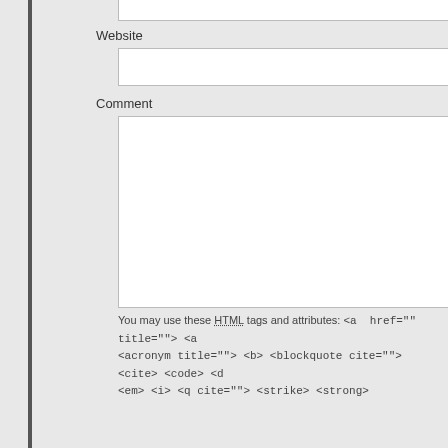Website
Comment
You may use these HTML tags and attributes: <a href="" title=""> <a <acronym title=""> <b> <blockquote cite=""> <cite> <code> <d <em> <i> <q cite=""> <strike> <strong>
Post Comment